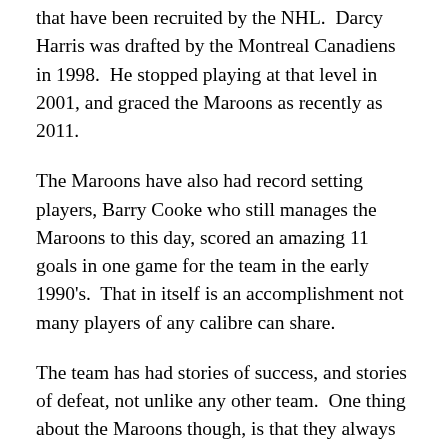that have been recruited by the NHL.  Darcy Harris was drafted by the Montreal Canadiens in 1998.  He stopped playing at that level in 2001, and graced the Maroons as recently as 2011.
The Maroons have also had record setting players, Barry Cooke who still manages the Maroons to this day, scored an amazing 11 goals in one game for the team in the early 1990's.  That in itself is an accomplishment not many players of any calibre can share.
The team has had stories of success, and stories of defeat, not unlike any other team.  One thing about the Maroons though, is that they always step up to the plate.  If it's the Jr Maroons, the Maroon Sisters,